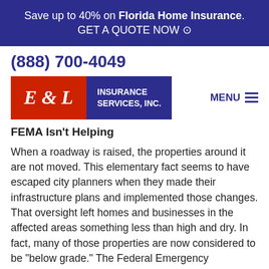Save up to 40% on Florida Home Insurance. GET A QUOTE NOW ⊙
(888) 700-4049
[Figure (logo): E&L Insurance Services, Inc. logo with red and blue sections]
FEMA Isn't Helping
When a roadway is raised, the properties around it are not moved. This elementary fact seems to have escaped city planners when they made their infrastructure plans and implemented those changes. That oversight left homes and businesses in the affected areas something less than high and dry. In fact, many of those properties are now considered to be "below grade." The Federal Emergency Management Agency, which created the